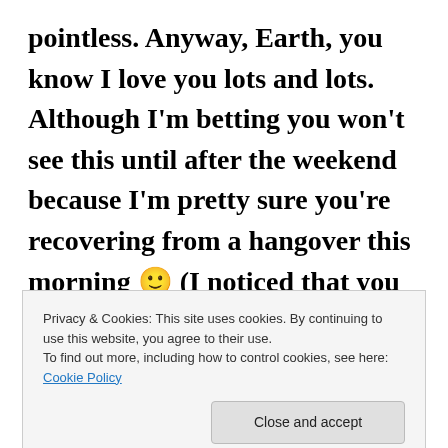pointless. Anyway, Earth, you know I love you lots and lots. Although I'm betting you won't see this until after the weekend because I'm pretty sure you're recovering from a hangover this morning 🙂 (I noticed that you organized a little
Privacy & Cookies: This site uses cookies. By continuing to use this website, you agree to their use.
To find out more, including how to control cookies, see here: Cookie Policy
man push you around